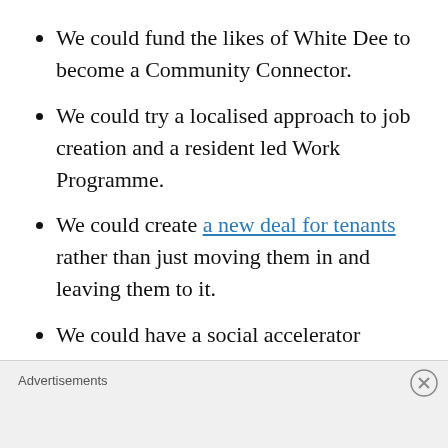We could fund the likes of White Dee to become a Community Connector.
We could try a localised approach to job creation and a resident led Work Programme.
We could create a new deal for tenants rather than just moving them in and leaving them to it.
We could have a social accelerator programme to scale up business ideas – like the 50p man.
We could attempt to pilot a whole new
Advertisements